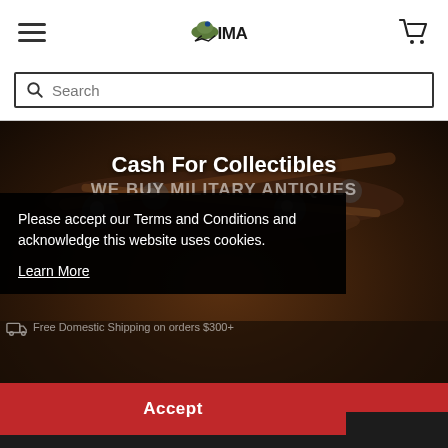IMA – International Military Antiques – header navigation with hamburger menu, IMA logo, and cart icon
[Figure (screenshot): Search bar with magnifying glass icon and placeholder text 'Search']
[Figure (photo): Hero background photo of antique weapons/militaria (dark brown tones), with text overlay 'Cash For Collectibles' and 'WE BUY MILITARY ANTIQUES']
Cash For Collectibles
WE BUY MILITARY ANTIQUES
Please accept our Terms and Conditions and acknowledge this website uses cookies.
Learn More
Free Domestic Shipping on orders $300+
Hassle Free 30 Day Return Period
Accept
ADD TO CART